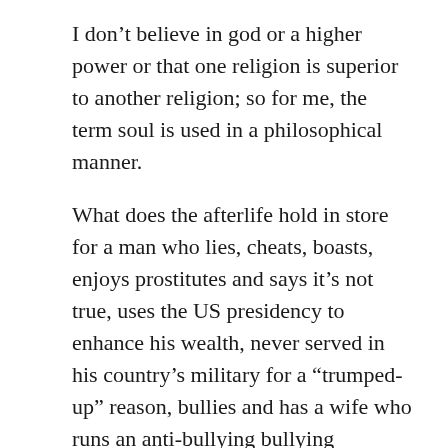I don't believe in god or a higher power or that one religion is superior to another religion; so for me, the term soul is used in a philosophical manner.
What does the afterlife hold in store for a man who lies, cheats, boasts, enjoys prostitutes and says it's not true, uses the US presidency to enhance his wealth, never served in his country's military for a “trumped-up” reason, bullies and has a wife who runs an anti-bullying bullying campaign, pretends to win golf championships, name calls, colludes with autocrats from Russia and Saudi Arabia, is a bigot, a racist and the most narcissistic man to ever hold the office of POTUS.
Where does his soul go?